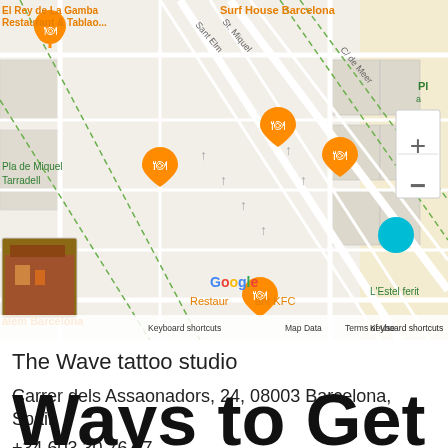[Figure (map): Google Maps screenshot showing area near Carrer dels Assaonadors, Barcelona, with restaurant markers, street labels including El Rey de La Gamba Restaurant & Tablao, Surf House Barcelona, Pla de Miquel Tarradell, L'Estel ferit, zoom controls, Google branding, Keyboard shortcuts, Map Data, Terms of Use]
The Wave tattoo studio
Carrer dels Assaonadors, 24, 08003 Barcelona, Spain
+34 603 30 76 87
https://goo.gl/maps/tkK7tSzm8MFuz3rb9
Ways to Get